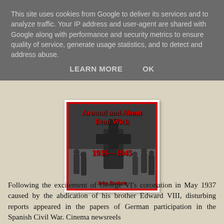This site uses cookies from Google to deliver its services and to analyze traffic. Your IP address and user-agent are shared with Google along with performance and security metrics to ensure quality of service, generate usage statistics, and to detect and address abuse.
LEARN MORE   OK
[Figure (photo): Book cover: 'Around and About Eton Wick 1939-1945' by John Benham. Black and white photograph of soldiers/workers with machinery, with red title text and red border.]
Following the excitement of George VI's coronation in May 1937 caused by the abdication of his brother Edward VIII, disturbing reports appeared in the papers of German participation in the Spanish Civil War. Cinema newsreels